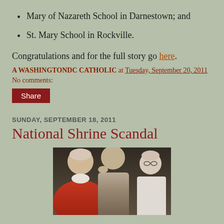Mary of Nazareth School in Darnestown; and
St. Mary School in Rockville.
Congratulations and for the full story go here.
A WASHINGTONDC CATHOLIC at Tuesday, September 20, 2011
No comments:
Share
SUNDAY, SEPTEMBER 18, 2011
National Shrine Scandal
[Figure (photo): Three men in religious/formal attire at what appears to be a church ceremony. The man on the left wears red clerical robes, the man in the middle leans in and whispers, and the man on the right wears glasses and a white collar.]